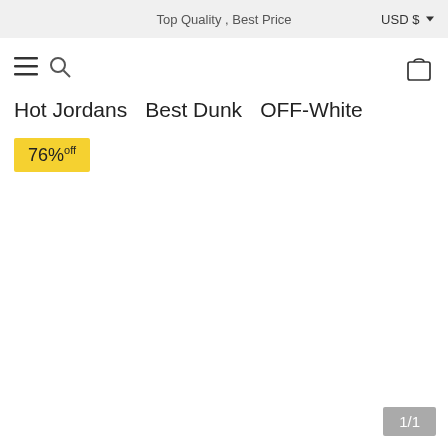Top Quality , Best Price   USD $
[Figure (infographic): Navigation bar with hamburger menu icon, search icon on the left, and shopping bag/cart icon on the right]
Hot Jordans   Best Dunk   OFF-White
76%off
1/1